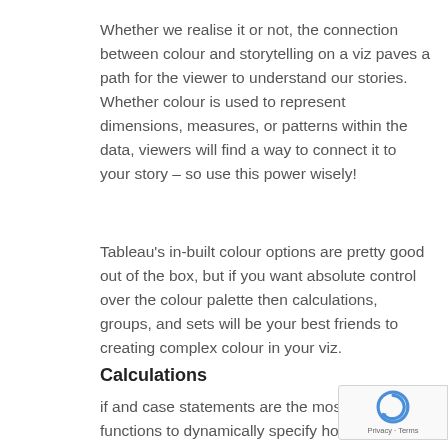Whether we realise it or not, the connection between colour and storytelling on a viz paves a path for the viewer to understand our stories. Whether colour is used to represent dimensions, measures, or patterns within the data, viewers will find a way to connect it to your story – so use this power wisely!
Tableau's in-built colour options are pretty good out of the box, but if you want absolute control over the colour palette then calculations, groups, and sets will be your best friends to creating complex colour in your viz.
Calculations
if and case statements are the most powerful functions to dynamically specify how you want your values to be grouped. These statements are a way for Tableau users to reason with the software and